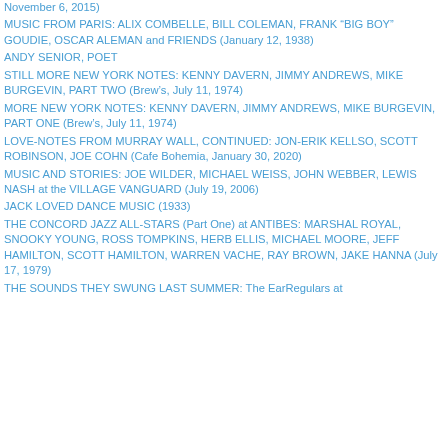November 6, 2015)
MUSIC FROM PARIS: ALIX COMBELLE, BILL COLEMAN, FRANK “BIG BOY” GOUDIE, OSCAR ALEMAN and FRIENDS (January 12, 1938)
ANDY SENIOR, POET
STILL MORE NEW YORK NOTES: KENNY DAVERN, JIMMY ANDREWS, MIKE BURGEVIN, PART TWO (Brew’s, July 11, 1974)
MORE NEW YORK NOTES: KENNY DAVERN, JIMMY ANDREWS, MIKE BURGEVIN, PART ONE (Brew’s, July 11, 1974)
LOVE-NOTES FROM MURRAY WALL, CONTINUED: JON-ERIK KELLSO, SCOTT ROBINSON, JOE COHN (Cafe Bohemia, January 30, 2020)
MUSIC AND STORIES: JOE WILDER, MICHAEL WEISS, JOHN WEBBER, LEWIS NASH at the VILLAGE VANGUARD (July 19, 2006)
JACK LOVED DANCE MUSIC (1933)
THE CONCORD JAZZ ALL-STARS (Part One) at ANTIBES: MARSHAL ROYAL, SNOOKY YOUNG, ROSS TOMPKINS, HERB ELLIS, MICHAEL MOORE, JEFF HAMILTON, SCOTT HAMILTON, WARREN VACHE, RAY BROWN, JAKE HANNA (July 17, 1979)
THE SOUNDS THEY SWUNG LAST SUMMER: The EarRegulars at